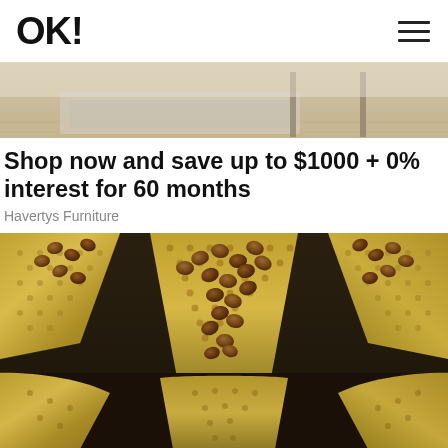OK!
[Figure (photo): Partial view of a living room with furniture and a rug on a wood floor]
Shop now and save up to $1000 + 0% interest for 60 months
Havertys Furniture
[Figure (photo): Close-up photo of coffee beans or chocolate drops in gold/metallic mesh funnels or scoops]